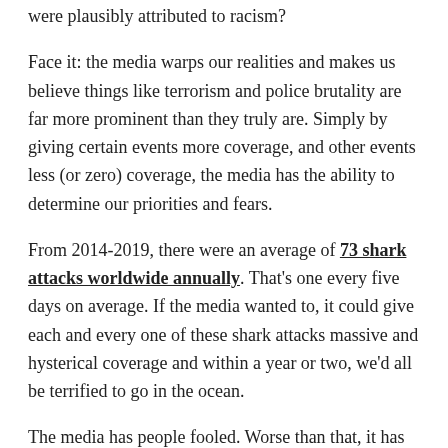were plausibly attributed to racism?
Face it: the media warps our realities and makes us believe things like terrorism and police brutality are far more prominent than they truly are. Simply by giving certain events more coverage, and other events less (or zero) coverage, the media has the ability to determine our priorities and fears.
From 2014-2019, there were an average of 73 shark attacks worldwide annually. That’s one every five days on average. If the media wanted to, it could give each and every one of these shark attacks massive and hysterical coverage and within a year or two, we’d all be terrified to go in the ocean.
The media has people fooled. Worse than that, it has people afraid. And it’s not just terrorism and police. If the